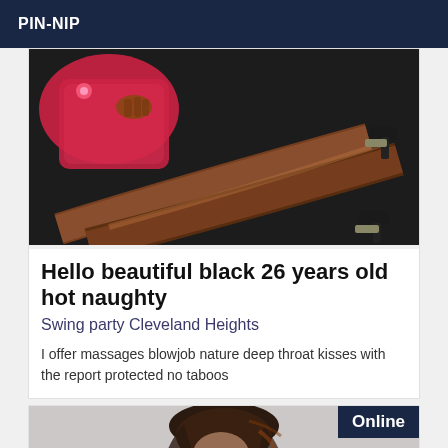PIN-NIP
[Figure (photo): Photo of a Black woman in a red dress lying on a dark surface, legs extended, wearing high heels]
Hello beautiful black 26 years old hot naughty
Swing party Cleveland Heights
I offer massages blowjob nature deep throat kisses with the report protected no taboos
[Figure (photo): Partial photo of a woman with dark hair, with an 'Online' badge overlay in dark navy blue]